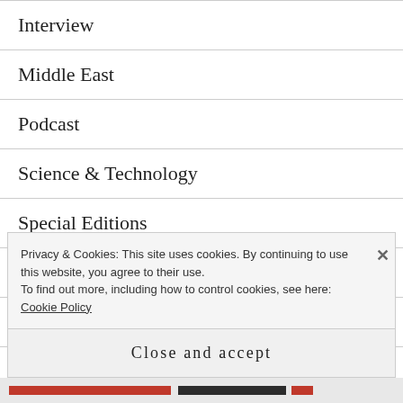Interview
Middle East
Podcast
Science & Technology
Special Editions
The Americas
The United Kingdom
Privacy & Cookies: This site uses cookies. By continuing to use this website, you agree to their use.
To find out more, including how to control cookies, see here:
Cookie Policy
Close and accept